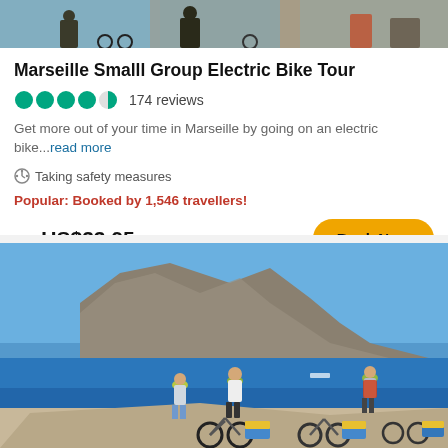[Figure (photo): Top strip photo of bicycles and people on a tour]
Marseille Smalll Group Electric Bike Tour
4.5 stars, 174 reviews
Get more out of your time in Marseille by going on an electric bike...read more
Taking safety measures
Popular: Booked by 1,546 travellers!
from US$33.95
[Figure (photo): Cyclists with electric bikes and panniers standing on rocky terrain with a large limestone cliff, blue sea, and clear sky in the background near Marseille calanques]